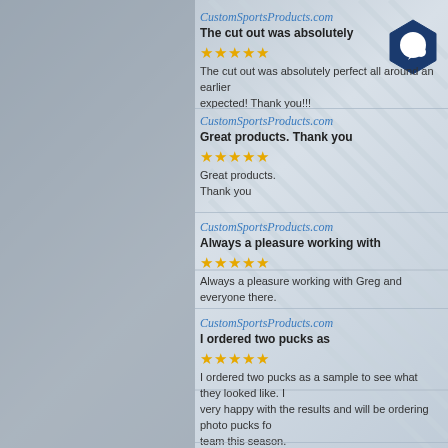[Figure (logo): Blue hexagon with white speech bubble icon in top right corner]
CustomSportsProducts.com
The cut out was absolutely
★★★★★
The cut out was absolutely perfect all around and arrived earlier than expected! Thank you!!!
CustomSportsProducts.com
Great products. Thank you
★★★★★
Great products.
Thank you
CustomSportsProducts.com
Always a pleasure working with
★★★★★
Always a pleasure working with Greg and everyone there.
CustomSportsProducts.com
I ordered two pucks as
★★★★★
I ordered two pucks as a sample to see what they looked like. I very happy with the results and will be ordering photo pucks for team this season.